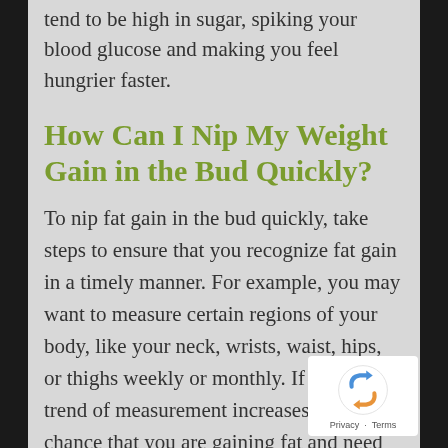tend to be high in sugar, spiking your blood glucose and making you feel hungrier faster.
How Can I Nip My Weight Gain in the Bud Quickly?
To nip fat gain in the bud quickly, take steps to ensure that you recognize fat gain in a timely manner. For example, you may want to measure certain regions of your body, like your neck, wrists, waist, hips, or thighs weekly or monthly. If there is a trend of measurement increases, there is a chance that you are gaining fat and need to reevaluate your diet.
Another way to ensure you are not putting on fat is to take pictures of yourself every week and compare them monthly. Sometimes, it can